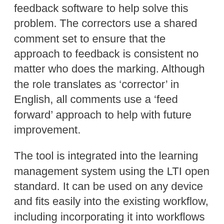feedback software to help solve this problem. The correctors use a shared comment set to ensure that the approach to feedback is consistent no matter who does the marking. Although the role translates as ‘corrector’ in English, all comments use a ‘feed forward’ approach to help with future improvement.
The tool is integrated into the learning management system using the LTI open standard. It can be used on any device and fits easily into the existing workflow, including incorporating it into workflows involving plagiarism-checking or peer-review.
Learners find the approach very helpful because the feedback is readily accessible and the